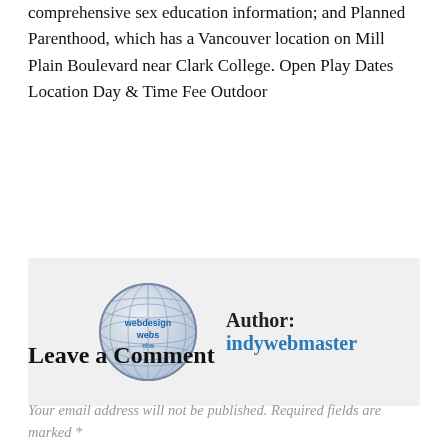comprehensive sex education information; and Planned Parenthood, which has a Vancouver location on Mill Plain Boulevard near Clark College. Open Play Dates Location Day & Time Fee Outdoor
[Figure (illustration): Globe/world icon with text webdesign/webs overlaid, used as author avatar for indywebmaster]
Author: indywebmaster
Leave a Comment
Your email address will not be published. Required fields are marked *